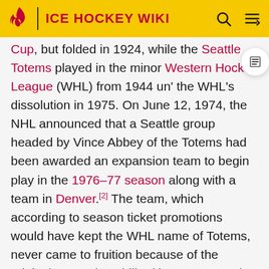ICE HOCKEY WIKI
Cup, but folded in 1924, while the Seattle Totems played in the minor Western Hockey League (WHL) from 1944 until the WHL's dissolution in 1975. On June 12, 1974, the NHL announced that a Seattle group headed by Vince Abbey of the Totems had been awarded an expansion team to begin play in the 1976–77 season along with a team in Denver.[2] The team, which according to season ticket promotions would have kept the WHL name of Totems, never came to fruition because of the original WHL's instability (the WHL was shut down the day the potential NHL team was announced), the inability of Abbey to gather the necessary funding and meet deadlines, and the poor performances on the ice and at the box office of 1974 expansion teams the Washington Capitals and the Kansas City Scouts. Abbey later came up short in bid to